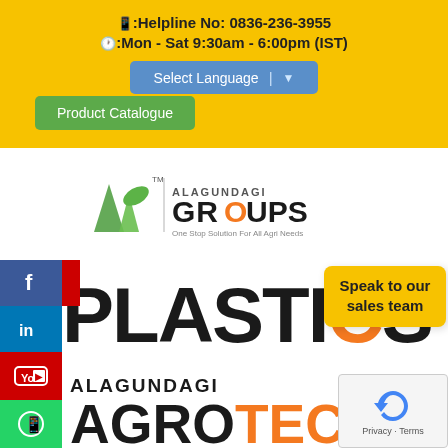📱:Helpline No: 0836-236-3955
🕐:Mon - Sat 9:30am - 6:00pm (IST)
Select Language
Product Catalogue
[Figure (logo): Alagundagi Groups logo with green triangle and leaf icon, text ALAGUNDAGI GROUPS, One Stop Solution For All Agri Needs]
PLASTICS
Speak to our sales team
ALAGUNDAGI
AGROTECH